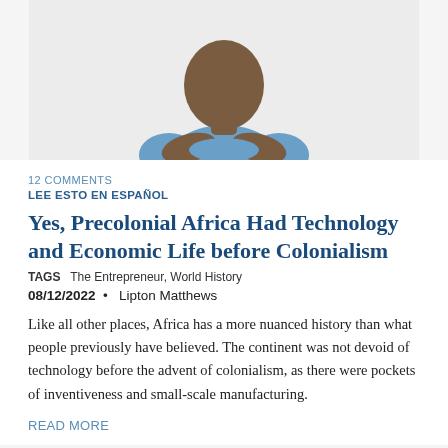[Figure (photo): Person in blue t-shirt with arms crossed, partially cropped at top]
12 COMMENTS
LEE ESTO EN ESPAÑOL
Yes, Precolonial Africa Had Technology and Economic Life before Colonialism
TAGS  The Entrepreneur, World History
08/12/2022  •  Lipton Matthews
Like all other places, Africa has a more nuanced history than what people previously have believed. The continent was not devoid of technology before the advent of colonialism, as there were pockets of inventiveness and small-scale manufacturing.
READ MORE